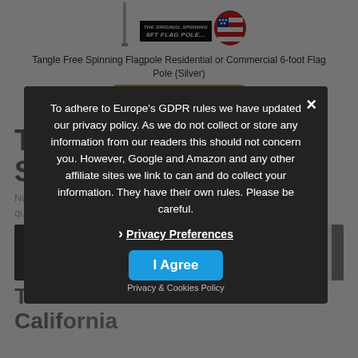[Figure (screenshot): Product image area showing a flagpole and spinning flag badge logo with text 'The Original Spinning 6ft Flag Pole...']
Tangle Free Spinning Flagpole Residential or Commercial 6-foot Flag Pole (Silver)
[Figure (screenshot): Amazon 'Buy from amazon.com' button with arrow icon]
Take the California State Quiz
Not only quiz on California facts, test your knowledge on various action quizzes.
[Figure (screenshot): Image grid showing USA for Kids, California questions, checkmark, and California State Quiz images]
The Coolest Places to Live in California
To adhere to Europe's GDPR rules we have updated our privacy policy. As we do not collect or store any information from our readers this should not concern you. However, Google and Amazon and any other affiliate sites we link to can and do collect your information. They have their own rules. Please be careful.
Privacy Preferences
I Agree
Privacy & Cookies Policy